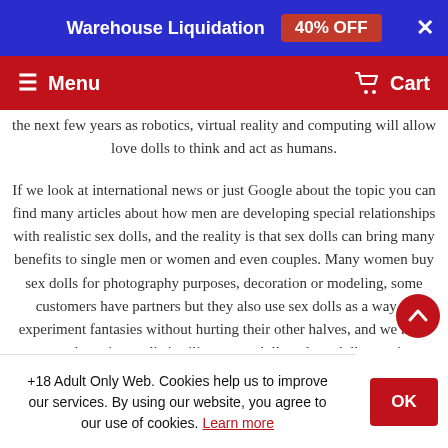[Figure (screenshot): Promotional banner: blue background with 'Warehouse Liquidation' text, '40% OFF' red badge, and close X button]
[Figure (screenshot): Red navigation bar with hamburger Menu on left and Cart icon on right]
the next few years as robotics, virtual reality and computing will allow love dolls to think and act as humans.
If we look at international news or just Google about the topic you can find many articles about how men are developing special relationships with realistic sex dolls, and the reality is that sex dolls can bring many benefits to single men or women and even couples. Many women buy sex dolls for photography purposes, decoration or modeling, some customers have partners but they also use sex dolls as a way to experiment fantasies without hurting their other halves, and we have seen couples using realistic silicone sex dolls or love dolls to spice up thei
+18 Adult Only Web. Cookies help us to improve our services. By using our website, you agree to our use of cookies. Learn more